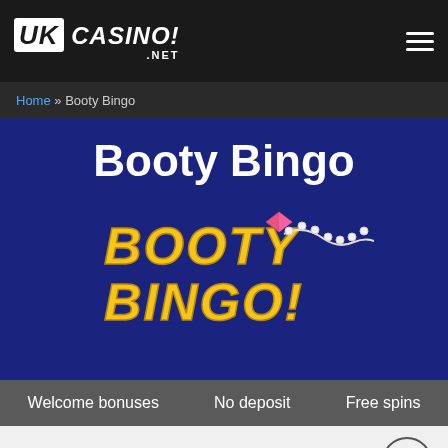UK CASINO! .NET
Home » Booty Bingo
Booty Bingo
[Figure (logo): Booty Bingo logo in yellow text with exclamation mark and pearl necklace decoration on dark navy background]
Welcome bonuses   No deposit   Free spins
Booty Bingo UK Bonuses